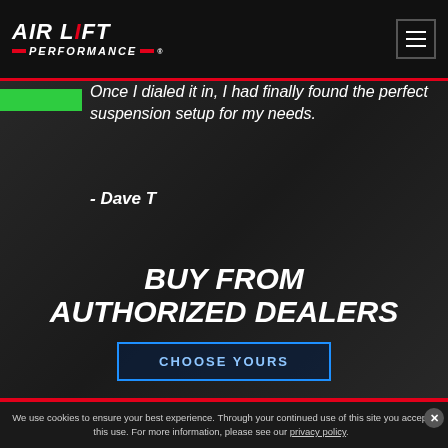Air Lift Performance
Once I dialed it in, I had finally found the perfect suspension setup for my needs.
- Dave T
BUY FROM AUTHORIZED DEALERS
CHOOSE YOURS
We use cookies to ensure your best experience. Through your continued use of this site you accept this use. For more information, please see our privacy policy.